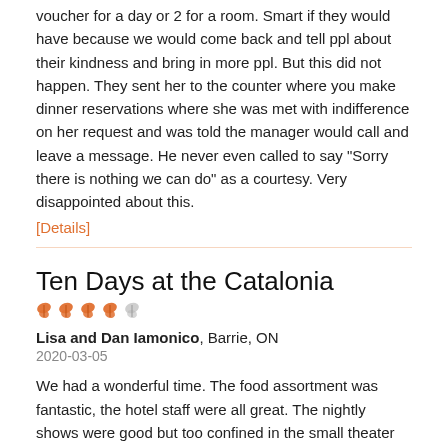voucher for a day or 2 for a room. Smart if they would have because we would come back and tell ppl about their kindness and bring in more ppl. But this did not happen. They sent her to the counter where you make dinner reservations where she was met with indifference on her request and was told the manager would call and leave a message. He never even called to say "Sorry there is nothing we can do" as a courtesy. Very disappointed about this.
[Details]
Ten Days at the Catalonia
[Figure (other): Rating butterflies: 4 orange filled butterflies and 1 grey/outline butterfly indicating 4 out of 5 rating]
Lisa and Dan Iamonico, Barrie, ON
2020-03-05
We had a wonderful time. The food assortment was fantastic, the hotel staff were all great. The nightly shows were good but too confined in the small theater space. It would have been nice to see a show outside.